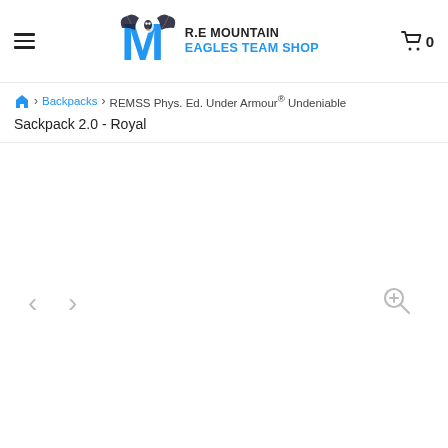R.E MOUNTAIN EAGLES TEAM SHOP
Backpacks > REMSS Phys. Ed. Under Armour® Undeniable Sackpack 2.0 - Royal
[Figure (screenshot): Product image area with left/right navigation arrows and zoom button. The image area appears blank/loading.]